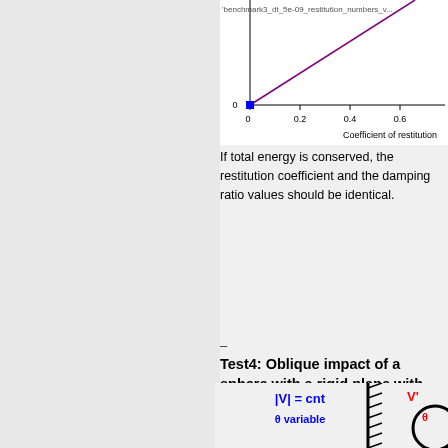[Figure (continuous-plot): Partial view of a scatter/line plot showing coefficient of restitution on x-axis (0, 0.2, 0.4, 0.6) with a blue data point near origin and a purple line. Legend label: 'benchmark3_dt_5e-09_restitution_numbers_v...']
If total energy is conserved, the restitution coefficient and the damping ratio values should be identical.
–
Test4: Oblique impact of a sphere with a rigid plane with constant velocity module and variable incident angles
Check the tangential restitution coefficient, final angular velocity and rebound angle of the sphere.
[Figure (illustration): Diagram showing a sphere approaching a rigid wall with |V| = cnt, theta variable (blue labels), and a rebound diagram with V' and theta angle (red labels).]